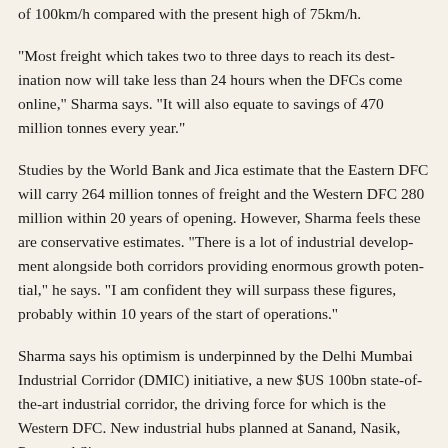of 100km/h compared with the present high of 75km/h.
"Most freight which takes two to three days to reach its destination now will take less than 24 hours when the DFCs come online," Sharma says. "It will also equate to savings of 470 million tonnes every year."
Studies by the World Bank and Jica estimate that the Eastern DFC will carry 264 million tonnes of freight and the Western DFC 280 million within 20 years of opening. However, Sharma feels these are conservative estimates. "There is a lot of industrial development alongside both corridors providing enormous growth potential," he says. "I am confident they will surpass these figures, probably within 10 years of the start of operations."
Sharma says his optimism is underpinned by the Delhi Mumbai Industrial Corridor (DMIC) initiative, a new $US 100bn state-of-the-art industrial corridor, the driving force for which is the Western DFC. New industrial hubs planned at Sanand, Nasik, Pune and S...